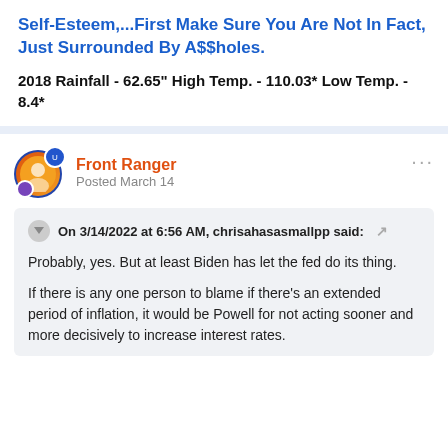Self-Esteem,...First Make Sure You Are Not In Fact, Just Surrounded By A$$holes.
2018 Rainfall - 62.65" High Temp. - 110.03* Low Temp. - 8.4*
Front Ranger
Posted March 14
On 3/14/2022 at 6:56 AM, chrisahasasmallpp said:
Probably, yes.  But at least Biden has let the fed do its thing.

If there is any one person to blame if there's an extended period of inflation, it would be Powell for not acting sooner and more decisively to increase interest rates.